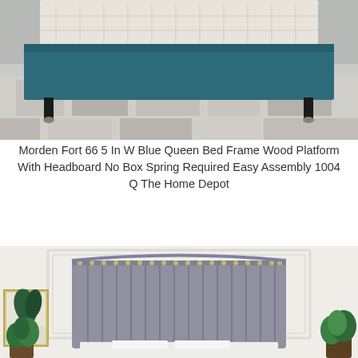[Figure (photo): Photo of a teal/blue upholstered queen bed frame with a quilted white mattress on top, sitting on a patterned area rug on a light wood floor, photographed from the foot of the bed.]
Morden Fort 66 5 In W Blue Queen Bed Frame Wood Platform With Headboard No Box Spring Required Easy Assembly 1004 Q The Home Depot
[Figure (photo): Photo of a gray tufted/channeled upholstered headboard with nailhead trim, positioned against a white paneled wall, with white bedding, a potted plant on the right, and a framed botanical print on the left.]